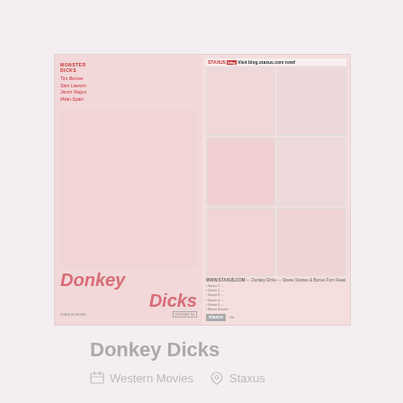[Figure (photo): DVD cover for 'Donkey Dicks' by Staxus / Monster Dicks series, showing front and back cover with title text and cast names: Tim Bonner, Sam Lawson, Jason Negus, Milan Spain]
Donkey Dicks
Western Movies   Staxus